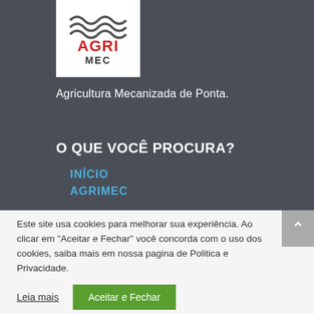[Figure (logo): AGRIMEC logo with wave graphic on top and red AGRI text with MEC below in dark letters, white background]
Agricultura Mecanizada de Ponta.
O QUE VOCÊ PROCURA?
INÍCIO
AGRIMEC
Este site usa cookies para melhorar sua experiência. Ao clicar em "Aceitar e Fechar" você concorda com o uso dos cookies, saiba mais em nossa pagina de Politica e Privacidade.
Leia mais   Aceitar e Fechar